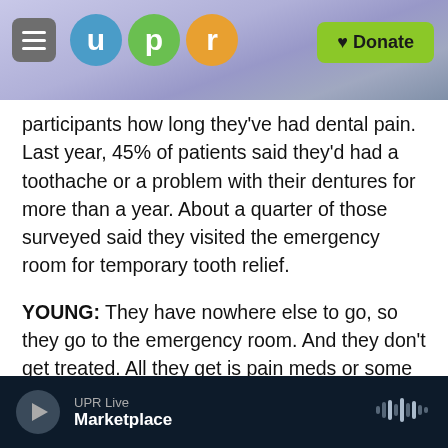UPR — Donate
participants how long they've had dental pain. Last year, 45% of patients said they'd had a toothache or a problem with their dentures for more than a year. About a quarter of those surveyed said they visited the emergency room for temporary tooth relief.
YOUNG: They have nowhere else to go, so they go to the emergency room. And they don't get treated. All they get is pain meds or some antibiotics, and they leave. So the problem still exists.
BLACKLEY: After the clinic, Young says patients meet with people in the health care industry who
UPR Live — Marketplace